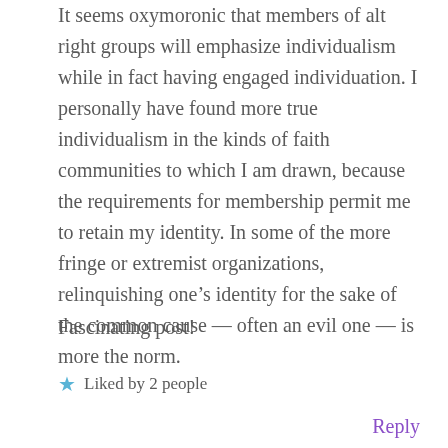It seems oxymoronic that members of alt right groups will emphasize individualism while in fact having engaged individuation. I personally have found more true individualism in the kinds of faith communities to which I am drawn, because the requirements for membership permit me to retain my identity. In some of the more fringe or extremist organizations, relinquishing one’s identity for the sake of the common cause — often an evil one — is more the norm.
Fascinating post!
Liked by 2 people
Reply